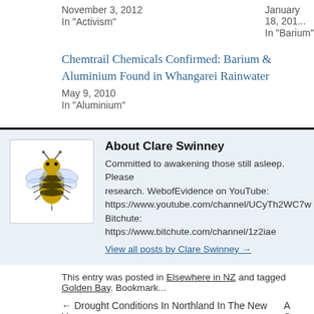November 3, 2012
In "Activism"
January 18, 201...
In "Barium"
Chemtrail Chemicals Confirmed: Barium & Aluminium Found in Whangarei Rainwater
May 9, 2010
In "Aluminium"
[Figure (photo): Illustration of a bee, used as author avatar for Clare Swinney]
About Clare Swinney
Committed to awakening those still asleep. Please research. WebofEvidence on YouTube: https://www.youtube.com/channel/UCyTh2WC7w... Bitchute: https://www.bitchute.com/channel/1z2iae...
View all posts by Clare Swinney →
This entry was posted in Elsewhere in NZ and tagged Golden Bay. Bookmark...
← Drought Conditions In Northland In The New Year
A C...